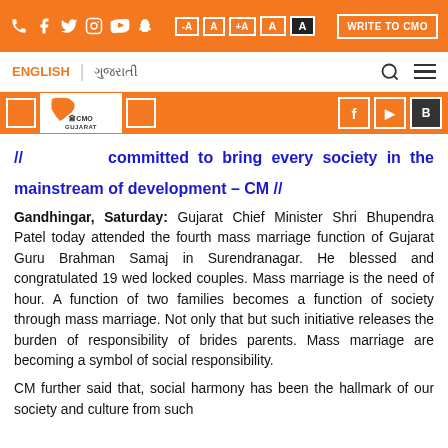Social media icons | Font size buttons | WRITE TO CMO | ENGLISH | Gujarati | Search | Menu
[Figure (logo): CMO Gujarat logo with Gujarat map outline in orange and Ashoka emblem]
// [CMO Gujarat] committed to bring every society in the mainstream of development – CM //
Gandhingar, Saturday: Gujarat Chief Minister Shri Bhupendra Patel today attended the fourth mass marriage function of Gujarat Guru Brahman Samaj in Surendranagar. He blessed and congratulated 19 wed locked couples. Mass marriage is the need of hour. A function of two families becomes a function of society through mass marriage. Not only that but such initiative releases the burden of responsibility of brides parents. Mass marriage are becoming a symbol of social responsibility.
CM further said that, social harmony has been the hallmark of our society and culture from such